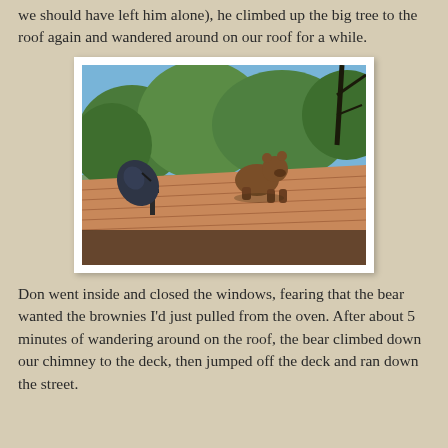we should have left him alone), he climbed up the big tree to the roof again and wandered around on our roof for a while.
[Figure (photo): A bear on a rooftop next to a satellite dish, with green trees visible in the background under a blue sky.]
Don went inside and closed the windows, fearing that the bear wanted the brownies I'd just pulled from the oven. After about 5 minutes of wandering around on the roof, the bear climbed down our chimney to the deck, then jumped off the deck and ran down the street.